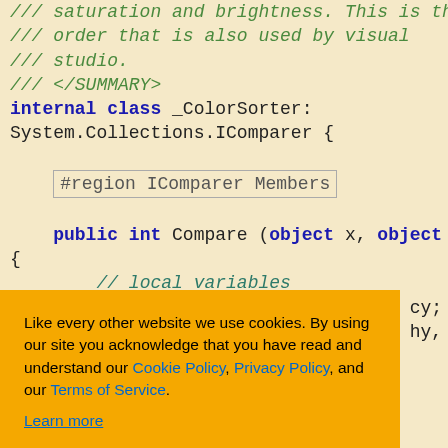[Figure (screenshot): Code editor screenshot showing C# source code for a _ColorSorter class implementing System.Collections.IComparer, with syntax highlighting (green comments, blue keywords, dark code) on a light yellow background.]
Like every other website we use cookies. By using our site you acknowledge that you have read and understand our Cookie Policy, Privacy Policy, and our Terms of Service. Learn more
Ask me later   Decline   Allow cookies